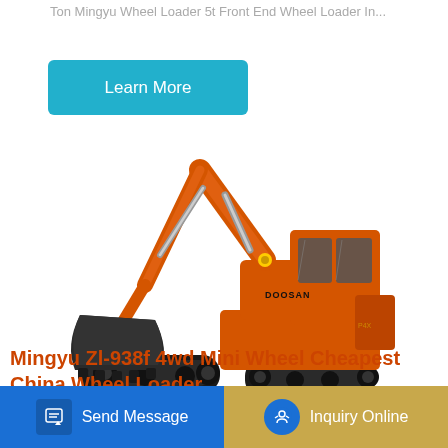Ton Mingyu Wheel Loader 5t Front End Wheel Loader In...
[Figure (other): Learn More button — teal/cyan colored rectangular button with rounded corners and white text]
[Figure (photo): Orange Doosan crawler excavator on white background, showing full side profile with extended boom arm and bucket]
Mingyu Zl-938f 4wd Mini Wheel Cheapest China Wheel Loader
[Figure (other): Send Message button — blue background with document/edit icon and white text]
[Figure (other): Inquiry Online button — tan/gold background with blue circular headset icon and white text]
Mingyu Zl-938f 4wd Mini Wheel Cheapest China Wheel